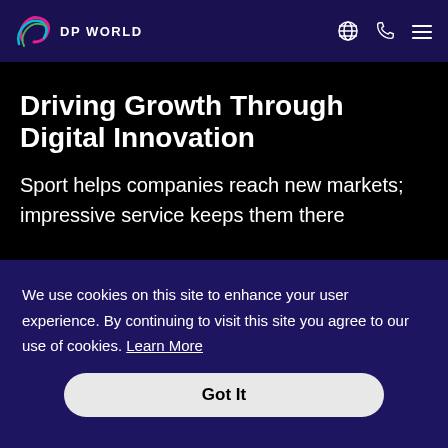DP WORLD
Driving Growth Through Digital Innovation
Sport helps companies reach new markets; impressive service keeps them there
We use cookies on this site to enhance your user experience. By continuing to visit this site you agree to our use of cookies. Learn More
Got It